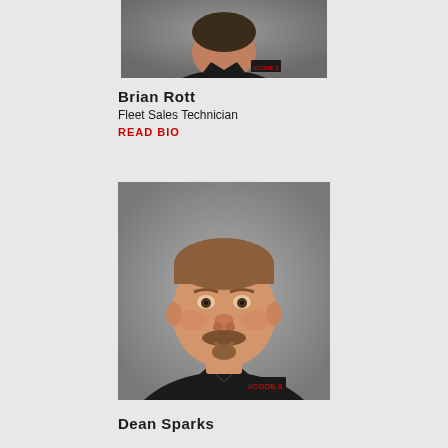[Figure (photo): Headshot photo of Brian Rott wearing a black Code 3 polo shirt, partial view showing shoulders and face, cropped at top]
Brian Rott
Fleet Sales Technician
READ BIO
[Figure (photo): Headshot photo of Dean Sparks, a middle-aged man with a mustache wearing a black Code 3 polo shirt, neutral gray background]
Dean Sparks